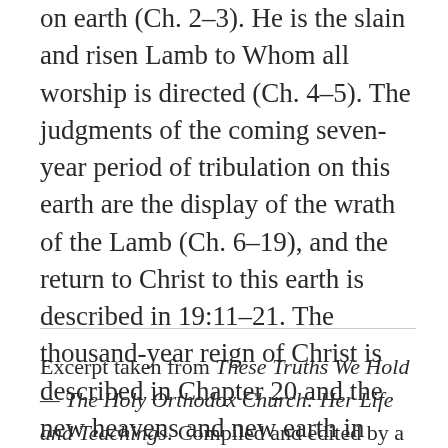on earth (Ch. 2–3). He is the slain and risen Lamb to Whom all worship is directed (Ch. 4–5). The judgments of the coming seven-year period of tribulation on this earth are the display of the wrath of the Lamb (Ch. 6–19), and the return to Christ to this earth is described in 19:11–21. The thousand-year reign of Christ is described in Chapter 20 and the new heavens and new earth in Chapters 21–22. The Orthodox Church also sees in Chapter 12:1–6 a portrayal of the Most-holy Theotokos. One of the least understood books of the New Testament, The Apocalypse is the one book of the Bible most distorted by various Protestant sects.
Excerpt taken from These Truths We Hold — The Holy Orthodox Church: Her Life and Teachings. Compiled and edited by a monk of